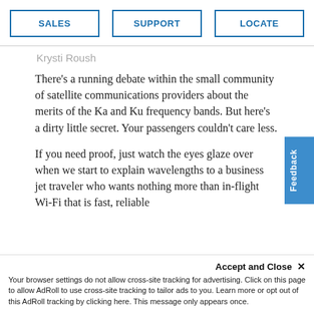SALES | SUPPORT | LOCATE
Krysti Roush
There’s a running debate within the small community of satellite communications providers about the merits of the Ka and Ku frequency bands. But here’s a dirty little secret. Your passengers couldn’t care less.
If you need proof, just watch the eyes glaze over when we start to explain wavelengths to a business jet traveler who wants nothing more than in-flight Wi-Fi that is fast, reliable
Accept and Close × Your browser settings do not allow cross-site tracking for advertising. Click on this page to allow AdRoll to use cross-site tracking to tailor ads to you. Learn more or opt out of this AdRoll tracking by clicking here. This message only appears once.